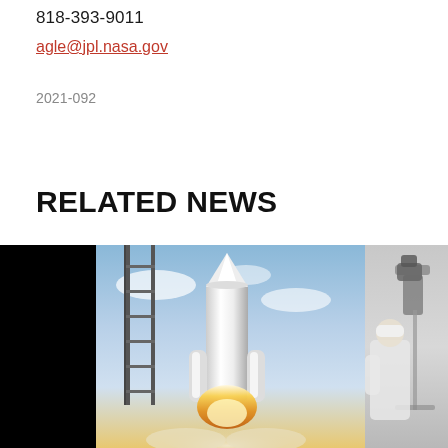818-393-9011
agle@jpl.nasa.gov
2021-092
RELATED NEWS
[Figure (photo): Rocket launching from a launch pad with black side panels, gantry structure visible, large exhaust plume and flame at base, blue sky background]
[Figure (photo): Lab scene with person in white lab coat working with scientific equipment, partially cropped]